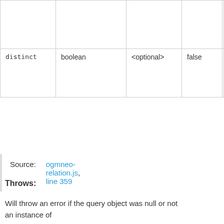| Name | Type | Argument | Default | Description |
| --- | --- | --- | --- | --- |
|  |  |  |  | st
no
'en
re
no |
| distinct | boolean | <optional> | false | Ac
di
cl
cy
re |
Source: ogmneo-relation.js, line 359
Throws:
Will throw an error if the query object was null or not an instance of